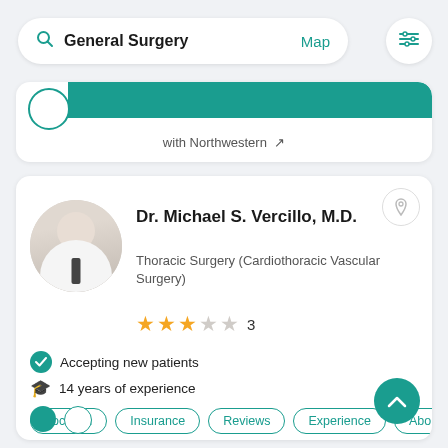General Surgery
Map
with Northwestern
Dr. Michael S. Vercillo, M.D.
Thoracic Surgery (Cardiothoracic Vascular Surgery)
3
Accepting new patients
14 years of experience
Location | Insurance | Reviews | Experience | Abo
4.1 mi  4405 Weaver Pkwy # 101 Warrenville IL 60555